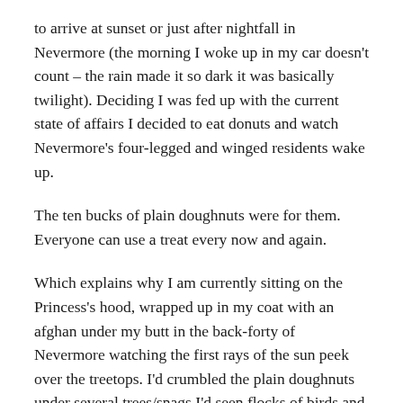to arrive at sunset or just after nightfall in Nevermore (the morning I woke up in my car doesn't count – the rain made it so dark it was basically twilight). Deciding I was fed up with the current state of affairs I decided to eat donuts and watch Nevermore's four-legged and winged residents wake up.
The ten bucks of plain doughnuts were for them. Everyone can use a treat every now and again.
Which explains why I am currently sitting on the Princess's hood, wrapped up in my coat with an afghan under my butt in the back-forty of Nevermore watching the first rays of the sun peek over the treetops. I'd crumbled the plain doughnuts under several trees/snags I'd seen flocks of birds and squirrels perched in previously. Then I settled in to wait and watch.